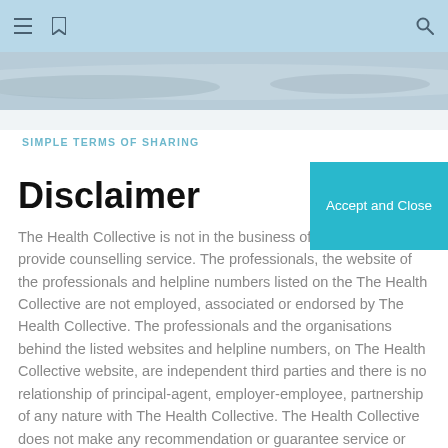[Figure (photo): Hero image of a landscape, light blue and grey tones]
SIMPLE TERMS OF SHARING
Disclaimer
Accept and Close
The Health Collective is not in the business of nor intends to provide counselling service. The professionals, the website of the professionals and helpline numbers listed on the The Health Collective are not employed, associated or endorsed by The Health Collective. The professionals and the organisations behind the listed websites and helpline numbers, on The Health Collective website, are independent third parties and there is no relationship of principal-agent, employer-employee, partnership of any nature with The Health Collective. The Health Collective does not make any recommendation or guarantee service or quality of any professional or helpline number or website listed herein. The Health Collective does not make any representations, warranties or guarantees as to, and is in no manner